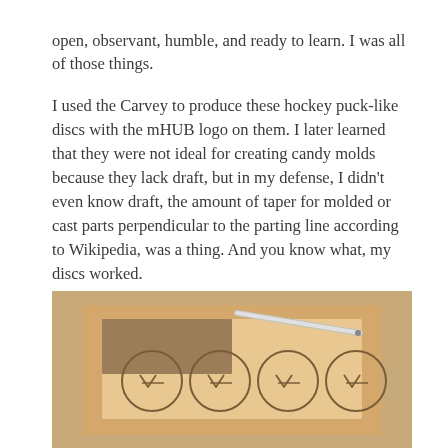open, observant, humble, and ready to learn. I was all of those things.
I used the Carvey to produce these hockey puck-like discs with the mHUB logo on them. I later learned that they were not ideal for creating candy molds because they lack draft, but in my defense, I didn't even know draft, the amount of taper for molded or cast parts perpendicular to the parting line according to Wikipedia, was a thing. And you know what, my discs worked.
[Figure (photo): Photo of a wooden block with four circular carved discs featuring the mHUB logo, with a pen/stylus visible in the upper right corner of the block, placed on a wooden surface.]